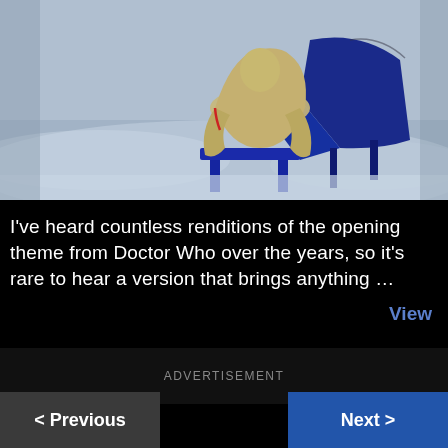[Figure (photo): A person in a tan/beige coat seated on a blue bench at a blue grand piano, in a misty bluish-grey studio setting.]
I've heard countless renditions of the opening theme from Doctor Who over the years, so it's rare to hear a version that brings anything …
View
ADVERTISEMENT
< Previous
Next >